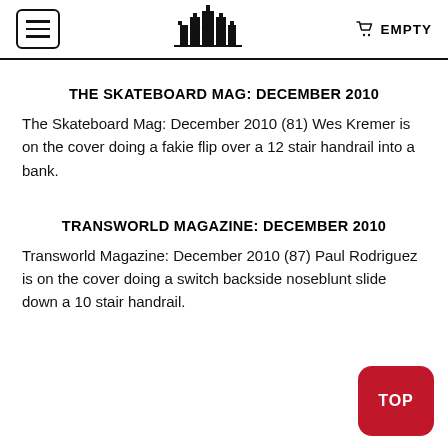☰ [logo] 🛒 EMPTY
THE SKATEBOARD MAG: DECEMBER 2010
The Skateboard Mag: December 2010 (81) Wes Kremer is on the cover doing a fakie flip over a 12 stair handrail into a bank.
TRANSWORLD MAGAZINE: DECEMBER 2010
Transworld Magazine: December 2010 (87) Paul Rodriguez is on the cover doing a switch backside noseblunt slide down a 10 stair handrail.